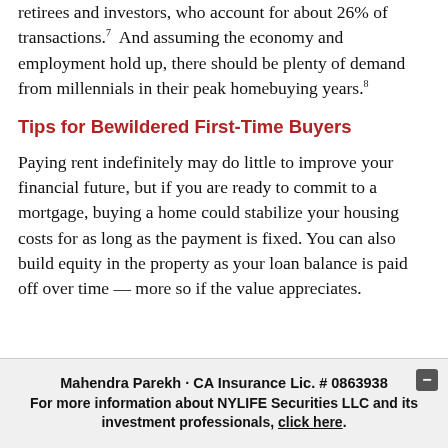retirees and investors, who account for about 26% of transactions.7  And assuming the economy and employment hold up, there should be plenty of demand from millennials in their peak homebuying years.8
Tips for Bewildered First-Time Buyers
Paying rent indefinitely may do little to improve your financial future, but if you are ready to commit to a mortgage, buying a home could stabilize your housing costs for as long as the payment is fixed. You can also build equity in the property as your loan balance is paid off over time — more so if the value appreciates.
Mahendra Parekh · CA Insurance Lic. # 0863938  For more information about NYLIFE Securities LLC and its investment professionals, click here.